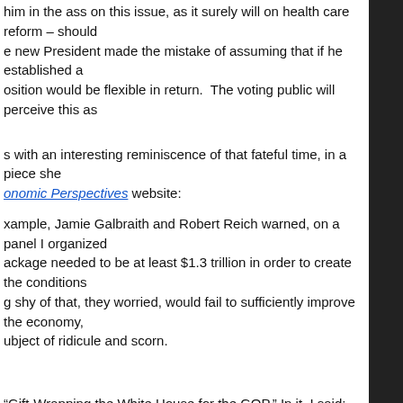him in the ass on this issue, as it surely will on health care reform – should e new President made the mistake of assuming that if he established a osition would be flexible in return.  The voting public will perceive this as
s with an interesting reminiscence of that fateful time, in a piece she onomic Perspectives website:
xample, Jamie Galbraith and Robert Reich warned, on a panel I organized ackage needed to be at least $1.3 trillion in order to create the conditions g shy of that, they worried, would fail to sufficiently improve the economy, ubject of ridicule and scorn.
“Gift-Wrapping the White House for the GOP.” In it, I said:
d term, he must join the growing chorus of voices calling for another ambitious program to create jobs and halt the foreclosure crisis.”
tan Goolsbee’s planned departure from his brief stint as chairman of the has been written about Obama’s constant rejection of the “dissenting resident’s economics team, such as those expressed by Goolsbee and his a chose, instead, to paint himself into a corner by following the misguided Tim Geithner.  Ezra Klein of The Washington Post recently published some d by Professor Romer at Stanford University in May of 2011.  At one point,